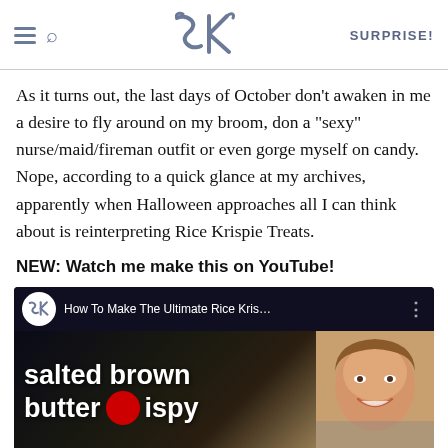SK | SURPRISE!
As it turns out, the last days of October don’t awaken in me a desire to fly around on my broom, don a “sexy” nurse/maid/fireman outfit or even gorge myself on candy. Nope, according to a quick glance at my archives, apparently when Halloween approaches all I can think about is reinterpreting Rice Krispie Treats.
NEW: Watch me make this on YouTube!
[Figure (screenshot): YouTube video thumbnail showing 'How To Make The Ultimate Rice Kris...' with text 'salted brown butter crispy' overlaid on a dark background, with a woman's face thumbnail in the corner. An advertisement bar at the bottom shows 'Discover the unsearchable / DiscoverTheForest.org'.]